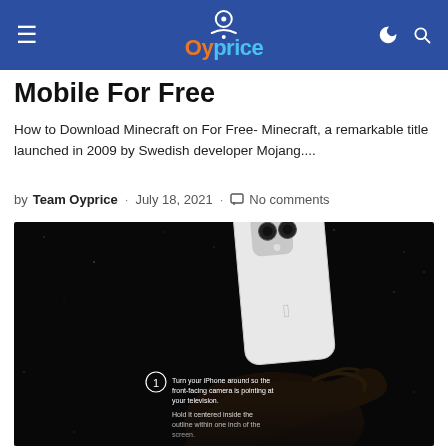Oyprice — navigation bar with hamburger menu, logo, dark mode and search icons
Mobile For Free
How to Download Minecraft on For Free- Minecraft, a remarkable title launched in 2009 by Swedish developer Mojang....
by Team Oyprice · July 18, 2021 · No comments
[Figure (photo): Dark background photo showing a hand holding a white iPhone with dual cameras, displaying on-screen instructions: 'Turn your iPhone around so the front-facing camera is pointing at your television. Hold it centered inside the outline within one inch of the screen.']